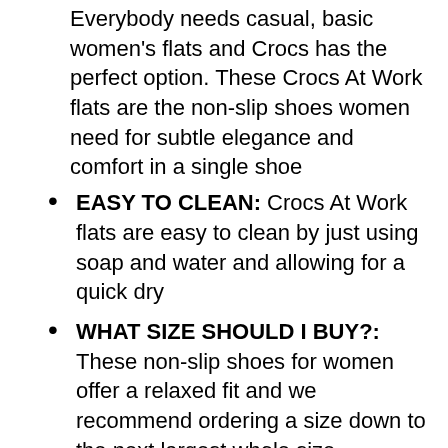Everybody needs casual, basic women's flats and Crocs has the perfect option. These Crocs At Work flats are the non-slip shoes women need for subtle elegance and comfort in a single shoe
EASY TO CLEAN: Crocs At Work flats are easy to clean by just using soap and water and allowing for a quick dry
WHAT SIZE SHOULD I BUY?: These non-slip shoes for women offer a relaxed fit and we recommend ordering a size down to the next largest whole size
CERTIFIABLY COMFORTABLE: This slip-resistant shoe for women has enhanced arch support and a relaxed fit for added comfort. Who says work shoes for women can't be tall...